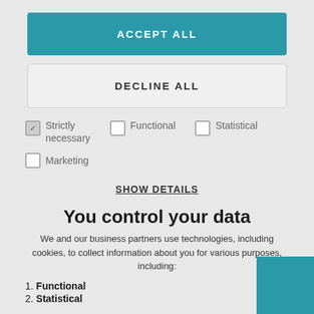ACCEPT ALL
DECLINE ALL
Strictly necessary
Functional
Statistical
Marketing
SHOW DETAILS
You control your data
We and our business partners use technologies, including cookies, to collect information about you for various purposes, including:
1. Functional
2. Statistical